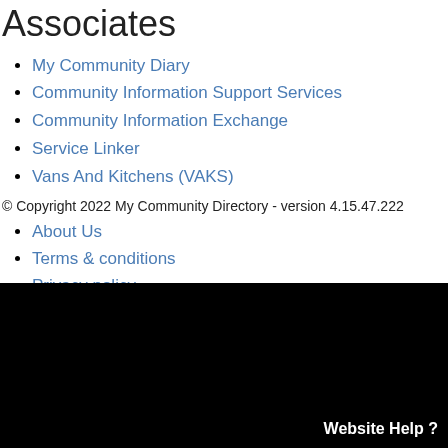Associates
My Community Diary
Community Information Support Services
Community Information Exchange
Service Linker
Vans And Kitchens (VAKS)
© Copyright 2022 My Community Directory - version 4.15.47.222
About Us
Terms & conditions
Privacy policy
Sitemap
Make My Community Directory my homepage
Text App to 0488 884 151
Website Help ?